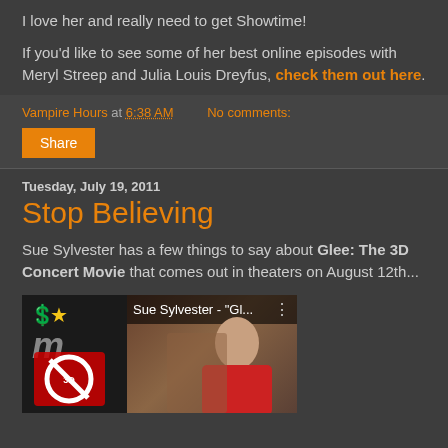I love her and really need to get Showtime!
If you'd like to see some of her best online episodes with Meryl Streep and Julia Louis Dreyfus, check them out here.
Vampire Hours at 6:38 AM   No comments:
Share
Tuesday, July 19, 2011
Stop Believing
Sue Sylvester has a few things to say about Glee: The 3D Concert Movie that comes out in theaters on August 12th...
[Figure (screenshot): Video thumbnail showing Sue Sylvester - 'Gl...' with a movie review interface on the left and a woman in the right portion of the frame]